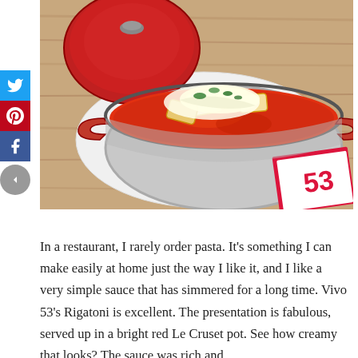[Figure (photo): Overhead view of a red Le Creuset pot filled with rigatoni pasta in a rich tomato sauce with melted cheese on top, sitting on a white plate on a wooden table. A red menu or book is partially visible in the bottom right corner.]
In a restaurant, I rarely order pasta. It's something I can make easily at home just the way I like it, and I like a very simple sauce that has simmered for a long time. Vivo 53's Rigatoni is excellent. The presentation is fabulous, served up in a bright red Le Cruset pot. See how creamy that looks? The sauce was rich and